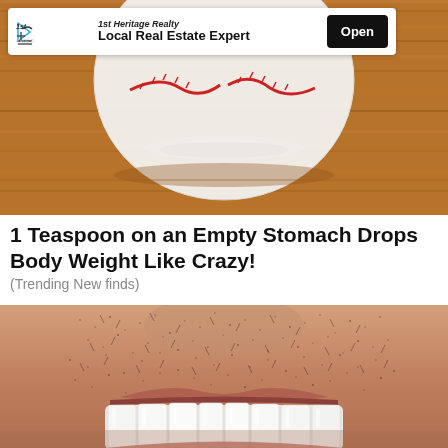[Figure (photo): Photo of a baseball on a wooden surface with a banner advertisement for 1st Heritage Realty overlaid at the top]
1 Teaspoon on an Empty Stomach Drops Body Weight Like Crazy!
(Trending New finds)
[Figure (photo): Close-up photo of a smiling man's mouth and chin showing stubble and white teeth]